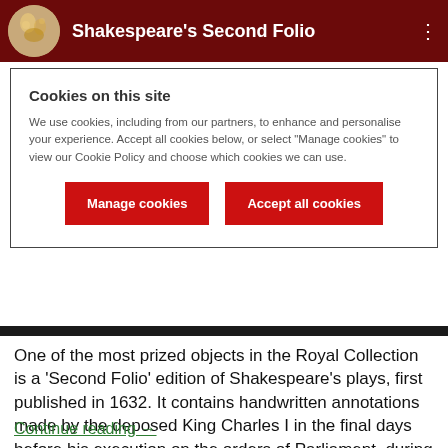Shakespeare's Second Folio
Cookies on this site
We use cookies, including from our partners, to enhance and personalise your experience. Accept all cookies below, or select "Manage cookies" to view our Cookie Policy and choose which cookies we can use.
Manage cookies | Accept all cookies
One of the most prized objects in the Royal Collection is a ‘Second Folio’ edition of Shakespeare’s plays, first published in 1632. It contains handwritten annotations made by the deposed King Charles I in the final days before his execution on the orders of Parliament, during the English Civil War.
Continue reading →